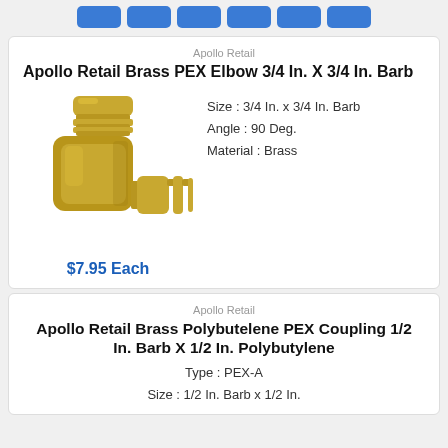[Figure (other): Row of six blue rounded rectangle buttons at top of page]
Apollo Retail
Apollo Retail Brass PEX Elbow 3/4 In. X 3/4 In. Barb
[Figure (photo): Photo of a brass PEX elbow fitting, 90 degree angle, barbed ends]
Size : 3/4 In. x 3/4 In. Barb
Angle : 90 Deg.
Material : Brass
$7.95 Each
Apollo Retail
Apollo Retail Brass Polybutelene PEX Coupling 1/2 In. Barb X 1/2 In. Polybutylene
Type : PEX-A
Size : 1/2 In. Barb x 1/2 In.